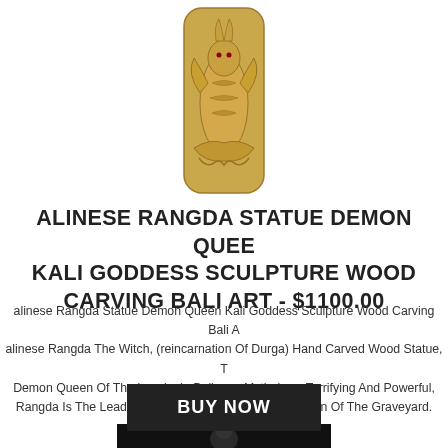[Figure (photo): A carved wooden sculpture/pendant featuring a dragon or deity figure, carved in detailed relief on a rectangular bone/ivory colored piece. Shown partially cropped at top of page.]
ALINESE RANGDA STATUE DEMON QUEEN KALI GODDESS SCULPTURE WOOD CARVING BALI ART - $1100.00
alinese Rangda Statue Demon Queen Kali Goddess Sculpture Wood Carving Bali Art. alinese Rangda The Witch, (reincarnation Of Durga) Hand Carved Wood Statue, The Demon Queen Of The Leyaks In Balinese Mythology. Terrifying And Powerful, Rangda Is The Leader Of Witches And Demons & Queen Of The Graveyard.
[Figure (photo): A dark/black background product photo showing a carved statue of Rangda, a demon queen figure from Balinese mythology, with horned headdress.]